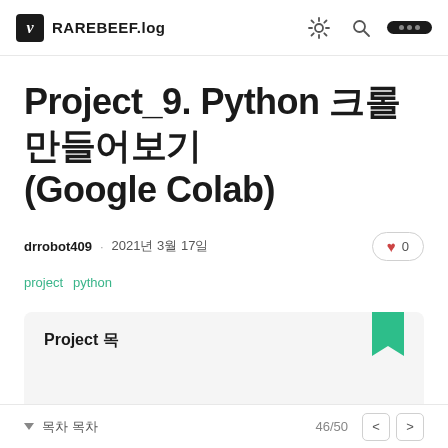v RAREBEEF.log
Project_9. Python 크롤러 만들어보기 (Google Colab)
drrobot409 · 2021년 3월 17일
project
python
Project 목
목차 목차  46/50